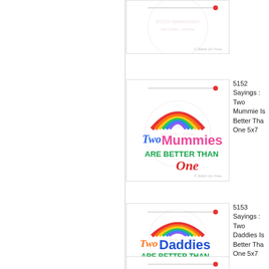[Figure (illustration): Partially visible embroidery design card at top, showing bottom portion with copyright 'Stitch On Time']
[Figure (illustration): Embroidery design card showing 'Two Mummies Are Better Than One' with rainbow graphic, needle and thread icon. Copyright Stitch On Time.]
5152 Sayings : Two Mummie Is Better Tha One 5x7
[Figure (illustration): Embroidery design card showing 'Two Daddies Are Better Than One' with rainbow graphic, needle and thread icon. Copyright Stitch On Time.]
5153 Sayings : Two Daddies Is Better Tha One 5x7
[Figure (illustration): Partially visible embroidery design card at bottom, showing only top portion with needle and thread icon.]